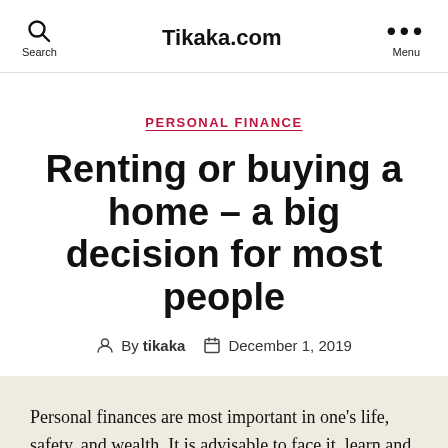Tikaka.com
PERSONAL FINANCE
Renting or buying a home – a big decision for most people
By tikaka  December 1, 2019
Personal finances are most important in one's life, safety, and wealth. It is advisable to face it, learn and practice